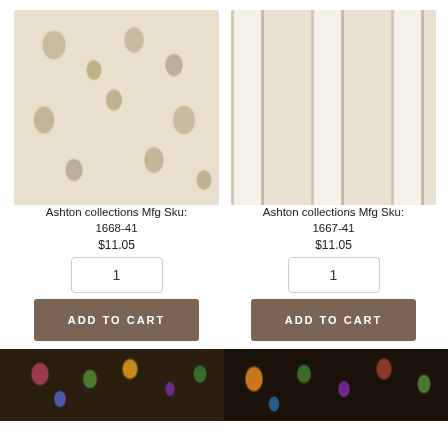[Figure (photo): Cream fabric with beige floral vine pattern, product 1668-41]
[Figure (photo): Cream fabric with colorful stripe floral pattern in red, blue, green, gold, product 1667-41]
Ashton collections Mfg Sku: 1668-41
$11.05
1
ADD TO CART
Ashton collections Mfg Sku: 1667-41
$11.05
1
ADD TO CART
[Figure (photo): Dark fabric with colorful floral stripe pattern, partial view]
[Figure (photo): Dark fabric with colorful floral pattern, partial view]